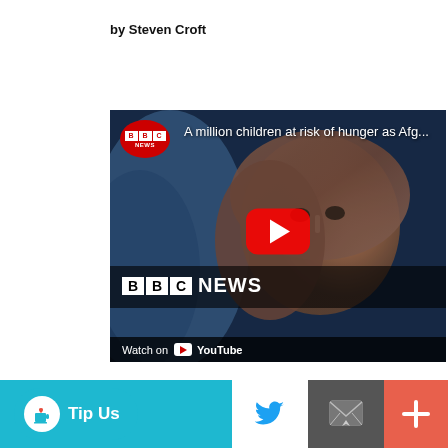by Steven Croft
[Figure (screenshot): BBC News YouTube video thumbnail showing a young Afghan girl with a headscarf. Title reads 'A million children at risk of hunger as Afg...' with a red YouTube play button in the center. BBC NEWS logo and Watch on YouTube bar at the bottom.]
[Figure (infographic): Bottom action bar with Ko-fi 'Tip Us' cyan button, Twitter bird icon on white background, email/envelope icon on grey background, and plus icon on coral/red background.]